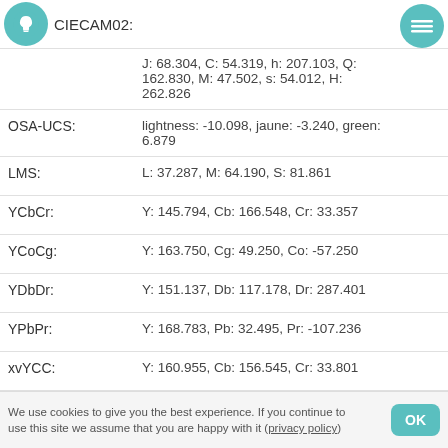CIECAM02:
J: 68.304, C: 54.319, h: 207.103, Q: 162.830, M: 47.502, s: 54.012, H: 262.826
OSA-UCS:
lightness: -10.098, jaune: -3.240, green: 6.879
LMS:
L: 37.287, M: 64.190, S: 81.861
YCbCr:
Y: 145.794, Cb: 166.548, Cr: 33.357
YCoCg:
Y: 163.750, Cg: 49.250, Co: -57.250
YDbDr:
Y: 151.137, Db: 117.178, Dr: 287.401
YPbPr:
Y: 168.783, Pb: 32.495, Pr: -107.236
xvYCC:
Y: 160.955, Cb: 156.545, Cr: 33.801
YIQ:
Y: 151.137, I: -132.028, Q: -40.062
We use cookies to give you the best experience. If you continue to use this site we assume that you are happy with it (privacy policy)